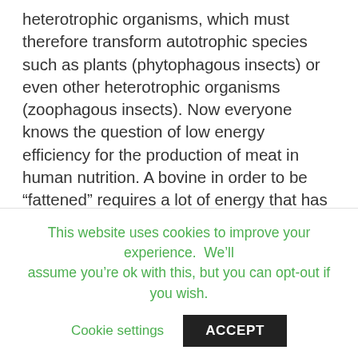heterotrophic organisms, which must therefore transform autotrophic species such as plants (phytophagous insects) or even other heterotrophic organisms (zoophagous insects). Now everyone knows the question of low energy efficiency for the production of meat in human nutrition. A bovine in order to be “fattened” requires a lot of energy that has been accumulated primarily by heterotrophs (vegetables) and transformed into vegetable proteins. This process, like all calculations on yields (which I also save you) has a very low yield, which is equivalent to saying that eating meat (at least with animals from
This website uses cookies to improve your experience. We’ll assume you’re ok with this, but you can opt-out if you wish.
Cookie settings   ACCEPT